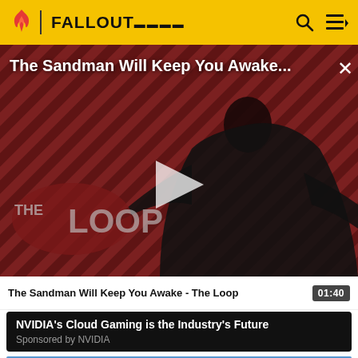FALLOUT (logo icons)
[Figure (screenshot): Video thumbnail showing a dark-robed figure against a red diagonal striped background with THE LOOP logo text. A play button is overlaid in the center. Title overlay reads 'The Sandman Will Keep You Awake...' with a close X button.]
The Sandman Will Keep You Awake - The Loop    01:40
NVIDIA's Cloud Gaming is the Industry's Future
Sponsored by NVIDIA
[Figure (photo): Partial bottom thumbnail of another video item, predominantly blue/teal tones, partially cut off at page bottom.]